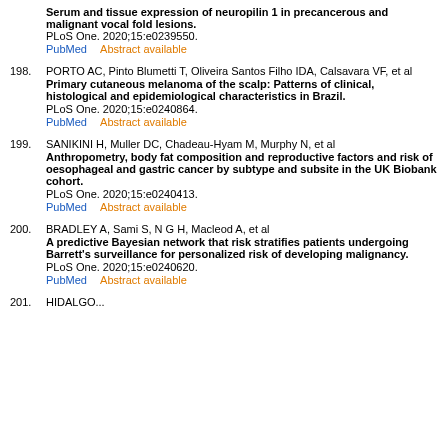Serum and tissue expression of neuropilin 1 in precancerous and malignant vocal fold lesions. PLoS One. 2020;15:e0239550. PubMed   Abstract available
198. PORTO AC, Pinto Blumetti T, Oliveira Santos Filho IDA, Calsavara VF, et al. Primary cutaneous melanoma of the scalp: Patterns of clinical, histological and epidemiological characteristics in Brazil. PLoS One. 2020;15:e0240864. PubMed   Abstract available
199. SANIKINI H, Muller DC, Chadeau-Hyam M, Murphy N, et al. Anthropometry, body fat composition and reproductive factors and risk of oesophageal and gastric cancer by subtype and subsite in the UK Biobank cohort. PLoS One. 2020;15:e0240413. PubMed   Abstract available
200. BRADLEY A, Sami S, N G H, Macleod A, et al. A predictive Bayesian network that risk stratifies patients undergoing Barrett's surveillance for personalized risk of developing malignancy. PLoS One. 2020;15:e0240620. PubMed   Abstract available
201. HIDALGO...